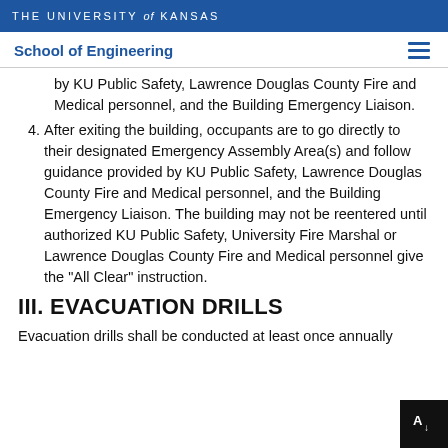THE UNIVERSITY of KANSAS
School of Engineering
by KU Public Safety, Lawrence Douglas County Fire and Medical personnel, and the Building Emergency Liaison.
4. After exiting the building, occupants are to go directly to their designated Emergency Assembly Area(s) and follow guidance provided by KU Public Safety, Lawrence Douglas County Fire and Medical personnel, and the Building Emergency Liaison. The building may not be reentered until authorized KU Public Safety, University Fire Marshal or Lawrence Douglas County Fire and Medical personnel give the "All Clear" instruction.
III. EVACUATION DRILLS
Evacuation drills shall be conducted at least once annually